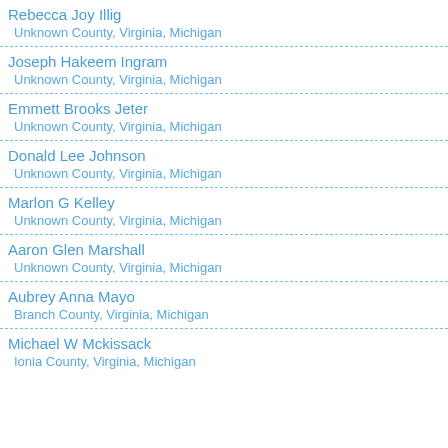Rebecca Joy Illig
Unknown County, Virginia, Michigan
Joseph Hakeem Ingram
Unknown County, Virginia, Michigan
Emmett Brooks Jeter
Unknown County, Virginia, Michigan
Donald Lee Johnson
Unknown County, Virginia, Michigan
Marlon G Kelley
Unknown County, Virginia, Michigan
Aaron Glen Marshall
Unknown County, Virginia, Michigan
Aubrey Anna Mayo
Branch County, Virginia, Michigan
Michael W Mckissack
Ionia County, Virginia, Michigan